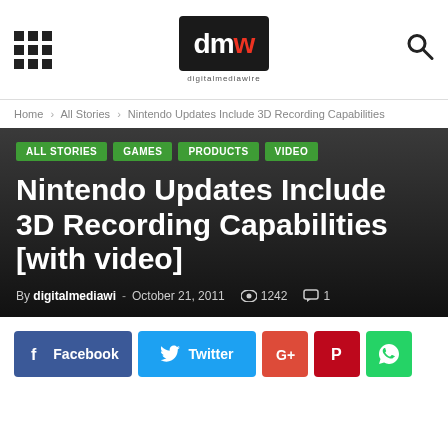digitalmediawire logo header with navigation grid and search icon
Home › All Stories › Nintendo Updates Include 3D Recording Capabilities
ALL STORIES   GAMES   PRODUCTS   VIDEO
Nintendo Updates Include 3D Recording Capabilities [with video]
By digitalmediawi - October 21, 2011   1242   1
[Figure (other): Social share buttons: Facebook, Twitter, Google+, Pinterest, WhatsApp]